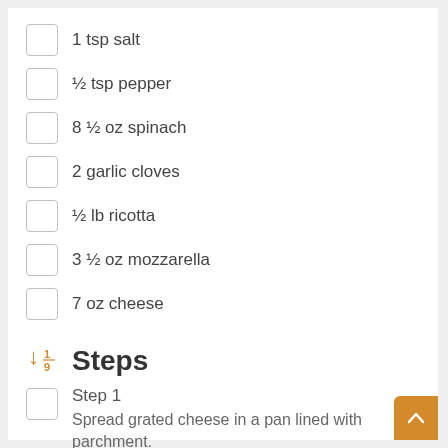1 tsp salt
½ tsp pepper
8 ½ oz spinach
2 garlic cloves
½ lb ricotta
3 ½ oz mozzarella
7 oz cheese
Steps
Step 1
Spread grated cheese in a pan lined with parchment.